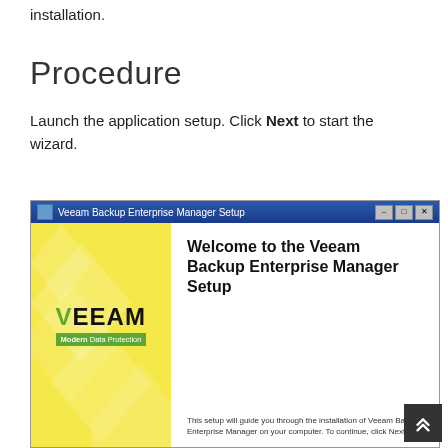installation.
Procedure
Launch the application setup. Click Next to start the wizard.
[Figure (screenshot): Veeam Backup Enterprise Manager Setup wizard welcome screen showing the Veeam logo on the left panel and 'Welcome to the Veeam Backup Enterprise Manager Setup' title on the right, with caption 'This setup will guide you through the installation of Veeam Backup Enterprise Manager on your computer. To continue, click Next.']